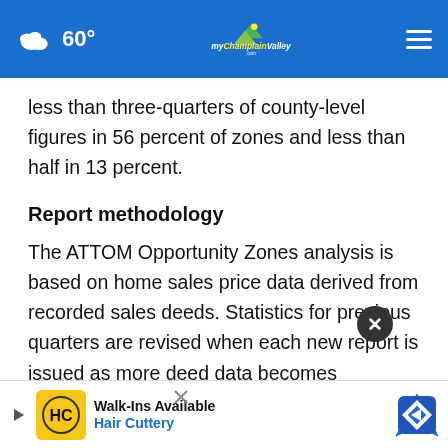60° myChamplainValley.com
less than three-quarters of county-level figures in 56 percent of zones and less than half in 13 percent.
Report methodology
The ATTOM Opportunity Zones analysis is based on home sales price data derived from recorded sales deeds. Statistics for previous quarters are revised when each new report is issued as more deed data becomes available. ATTOM's analysis comp... acts designated as Opportunity Zones by the
[Figure (other): Advertisement overlay: Walk-Ins Available - Hair Cuttery, with HC logo and navigation icon. Also a close (X) button overlay on the main content.]